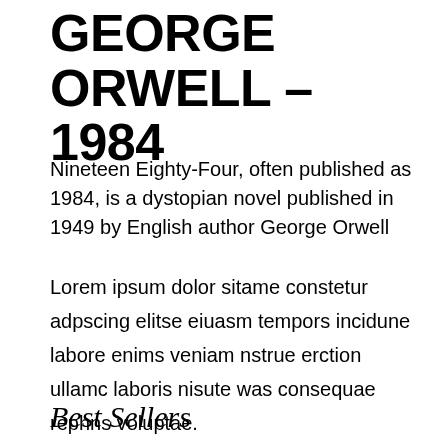GEORGE ORWELL – 1984
Nineteen Eighty-Four, often published as 1984, is a dystopian novel published in 1949 by English author George Orwell
Lorem ipsum dolor sitame constetur adpscing elitse eiuasm tempors incidune labore enims veniam nstrue erction ullamc laboris nisute was consequae rephns voluptae.
Best Sellers